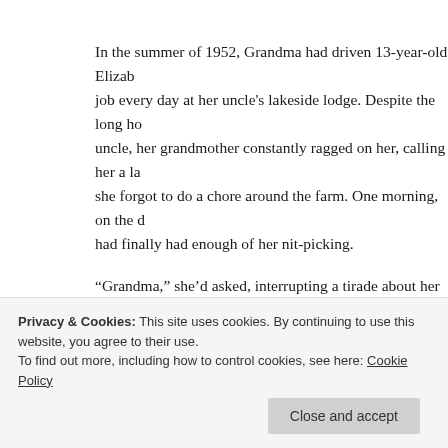In the summer of 1952, Grandma had driven 13-year-old Elizab… job every day at her uncle's lakeside lodge. Despite the long ho… uncle, her grandmother constantly ragged on her, calling her a la… she forgot to do a chore around the farm. One morning, on the d… had finally had enough of her nit-picking.
“Grandma,” she’d asked, interrupting a tirade about her lack of … me?”
Grandma’s face turned red. She slammed on the brakes, pulling…
Privacy & Cookies: This site uses cookies. By continuing to use this website, you agree to their use.
To find out more, including how to control cookies, see here: Cookie Policy